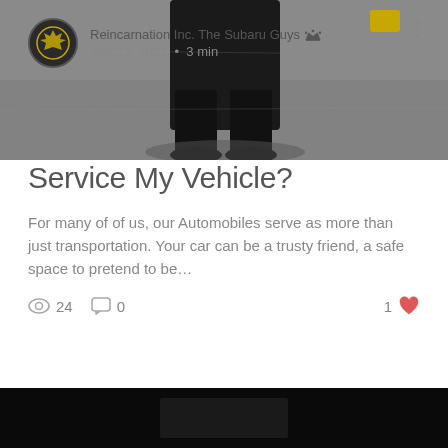[Figure (photo): Top portion of a photo showing a person in dark clothing standing on a grey concrete floor, viewed from below the waist. A yellow object is partially visible at upper right.]
Reincarnation Inc. The Subaru Guys [crown icon] Aug 12, 2021 • 3 min
Why Should I Have ASE Certified Professionals Service My Vehicle?
For many of of us, our Automobiles serve as more than just transportation. Your car can be a trusty friend, a safe space to pretend to be…
24 views   0 comments   1 like
[Figure (photo): Bottom portion of page showing a very dark/black photo strip.]